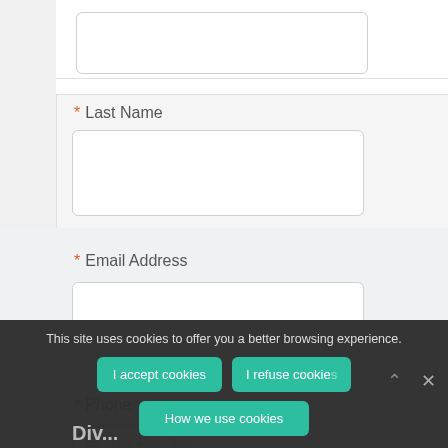* Last Name
[Figure (screenshot): Empty input field for Last Name]
* Email Address
[Figure (screenshot): Empty input field for Email Address]
* Phone
[Figure (screenshot): Partially visible phone input with placeholder Ex. 123-456-7890]
This site uses cookies to offer you a better browsing experience.
I accept cookies
I refuse cookies
How we use cookies